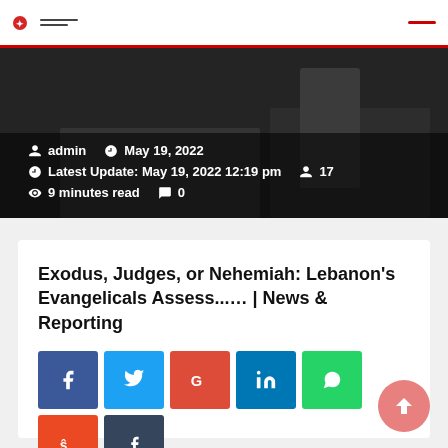[Figure (photo): Dark banner image showing a classroom or office desk scene with metadata overlay: admin, May 19, 2022; Latest Update: May 19, 2022 12:19 pm, 17; 9 minutes read, 0 comments]
Exodus, Judges, or Nehemiah: Lebanon's Evangelicals Assess...… | News & Reporting
[Figure (infographic): Social share buttons row 1: Facebook (blue), Twitter (light blue), Google (red), LinkedIn (blue), WhatsApp (green), StumbleUpon (orange-red), Tumblr (dark blue)]
[Figure (infographic): Social share buttons row 2: Pinterest (red), Reddit (orange), Email (dark gray), Print (dark gray)]